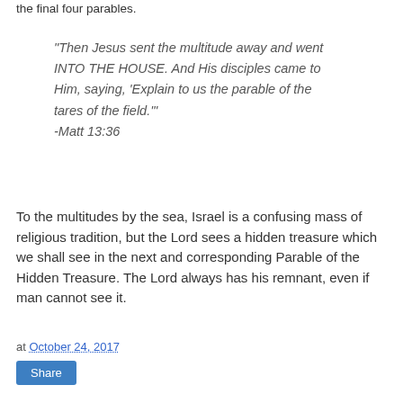the final four parables.
"Then Jesus sent the multitude away and went INTO THE HOUSE. And His disciples came to Him, saying, 'Explain to us the parable of the tares of the field.'"
-Matt 13:36
To the multitudes by the sea, Israel is a confusing mass of religious tradition, but the Lord sees a hidden treasure which we shall see in the next and corresponding Parable of the Hidden Treasure. The Lord always has his remnant, even if man cannot see it.
at October 24, 2017
Share